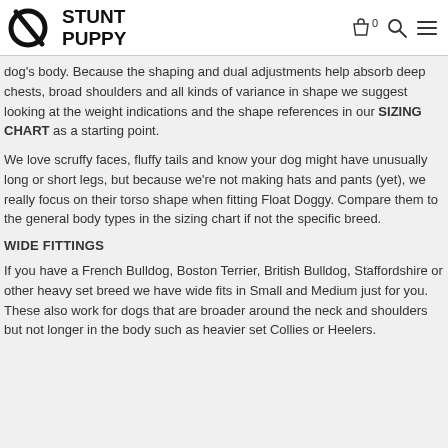STUNT PUPPY
dog's body. Because the shaping and dual adjustments help absorb deep chests, broad shoulders and all kinds of variance in shape we suggest looking at the weight indications and the shape references in our SIZING CHART as a starting point.
We love scruffy faces, fluffy tails and know your dog might have unusually long or short legs, but because we're not making hats and pants (yet), we really focus on their torso shape when fitting Float Doggy. Compare them to the general body types in the sizing chart if not the specific breed.
WIDE FITTINGS
If you have a French Bulldog, Boston Terrier, British Bulldog, Staffordshire or other heavy set breed we have wide fits in Small and Medium just for you. These also work for dogs that are broader around the neck and shoulders but not longer in the body such as heavier set Collies or Heelers.